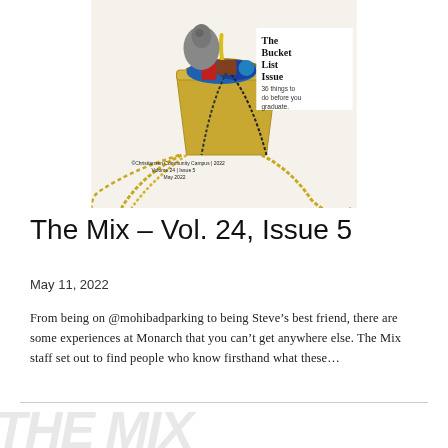[Figure (photo): Magazine cover of 'The Mix – Vol. 24, Issue 5' showing a gold bucket filled with colorful items including yellow feathers, blue items, and gold/black beads cascading out. Text on cover reads 'The Bucket List Issue, 36 things to do before you graduate.']
The Mix – Vol. 24, Issue 5
May 11, 2022
From being on @mohibadparking to being Steve's best friend, there are some experiences at Monarch that you can't get anywhere else. The Mix staff set out to find people who know firsthand what these…